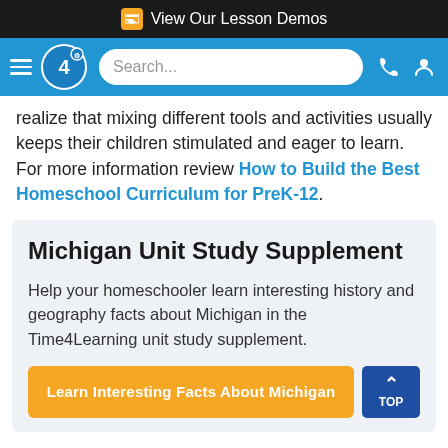View Our Lesson Demos
[Figure (screenshot): Navigation bar with hamburger menu, Time4Learning logo, search box, phone icon, and user account icon on blue background]
realize that mixing different tools and activities usually keeps their children stimulated and eager to learn. For more information review How to Build the Best Homeschool Curriculum for PreK-12.
Michigan Unit Study Supplement
Help your homeschooler learn interesting history and geography facts about Michigan in the Time4Learning unit study supplement.
Learn Interesting Facts About Michigan